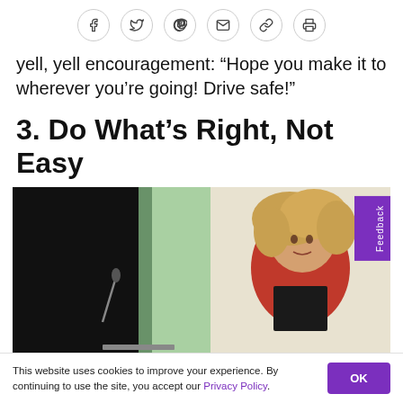[Figure (other): Social sharing icon bar with Facebook, Twitter, Pinterest, Email, Link, and Print icons in circular bordered buttons]
yell, yell encouragement: “Hope you make it to wherever you’re going! Drive safe!”
3. Do What’s Right, Not Easy
[Figure (photo): A woman with curly blonde hair wearing a red blazer speaking at a podium or presentation, with a dark background on the left and light gradient on the right. A microphone is visible in the foreground.]
This website uses cookies to improve your experience. By continuing to use the site, you accept our Privacy Policy.